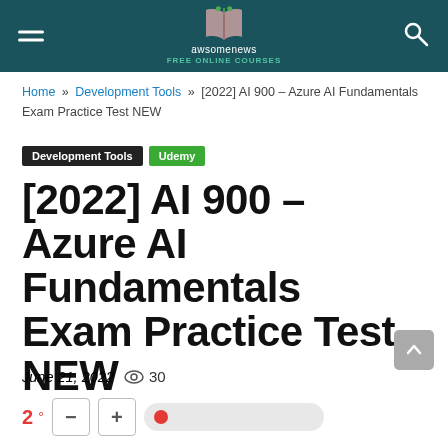awsomenews FREE ONLINE COURSES
Home » Development Tools » [2022] AI 900 – Azure AI Fundamentals Exam Practice Test NEW
Development Tools   Udemy
[2022] AI 900 – Azure AI Fundamentals Exam Practice Test NEW
June 21, 2022   30
2°  −  +